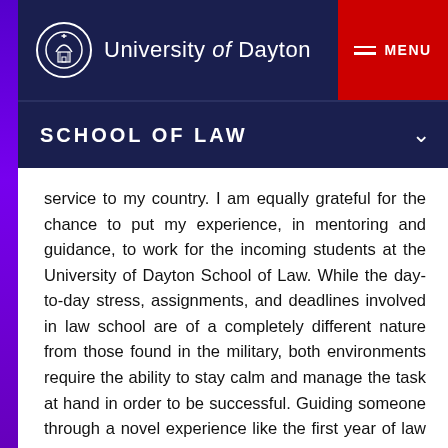University of Dayton
SCHOOL OF LAW
service to my country. I am equally grateful for the chance to put my experience, in mentoring and guidance, to work for the incoming students at the University of Dayton School of Law. While the day-to-day stress, assignments, and deadlines involved in law school are of a completely different nature from those found in the military, both environments require the ability to stay calm and manage the task at hand in order to be successful. Guiding someone through a novel experience like the first year of law school is an opportunity to reach backwards and extend a hand to someone who is only one or two years behind in the same process. It is an opportunity